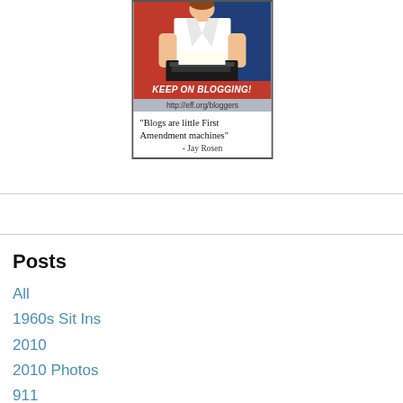[Figure (illustration): Keep On Blogging banner with Rosie the Riveter style poster image, red and blue background, typewriter, text KEEP ON BLOGGING! and URL http://eff.org/bloggers, with quote: "Blogs are little First Amendment machines" - Jay Rosen]
Posts
All
1960s Sit Ins
2010
2010 Photos
911
9/11
A Cappella